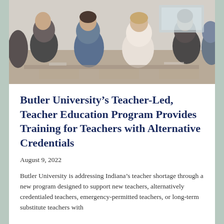[Figure (photo): Classroom photo showing students seated from behind, with a teacher at the front of the room. Students appear to be in a school setting with desks arranged in rows.]
Butler University’s Teacher-Led, Teacher Education Program Provides Training for Teachers with Alternative Credentials
August 9, 2022
Butler University is addressing Indiana’s teacher shortage through a new program designed to support new teachers, alternatively credentialed teachers, emergency-permitted teachers, or long-term substitute teachers with